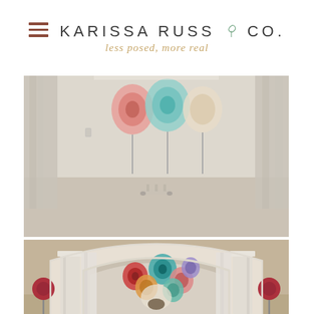KARISSA RUSS & CO. — less posed, more real
[Figure (photo): Interior event venue room with colorful decorative plate displays on stands against a cream wall with draped fabric curtains; an acrylic/lucite stand sits in the center of the carpeted floor.]
[Figure (photo): Same event venue showing a grand arched alcove with colorful Chihuly-style glass plate decorations mounted inside, flanked by columns and white drape curtains, with red floral topiary stands on either side.]